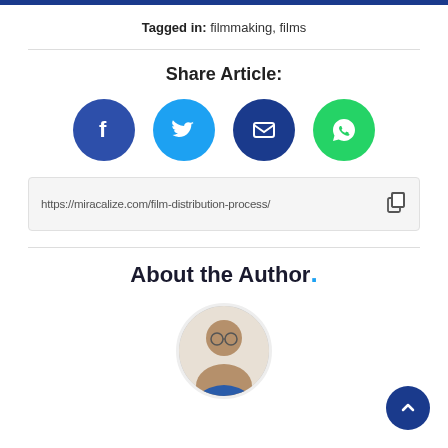Tagged in: filmmaking, films
Share Article:
[Figure (illustration): Four social media share buttons: Facebook (dark blue circle with f), Twitter (light blue circle with bird), Email (dark blue circle with envelope), WhatsApp (green circle with phone)]
https://miracalize.com/film-distribution-process/
About the Author.
[Figure (photo): Circular author photo showing a man with glasses and a beard]